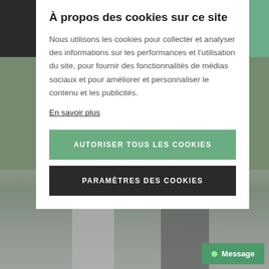[Figure (screenshot): Website background with green header bar and room photo at bottom]
À propos des cookies sur ce site
Nous utilisons les cookies pour collecter et analyser des informations sur les performances et l'utilisation du site, pour fournir des fonctionnalités de médias sociaux et pour améliorer et personnaliser le contenu et les publicités.
En savoir plus
AUTORISER TOUS LES COOKIES
PARAMÈTRES DES COOKIES